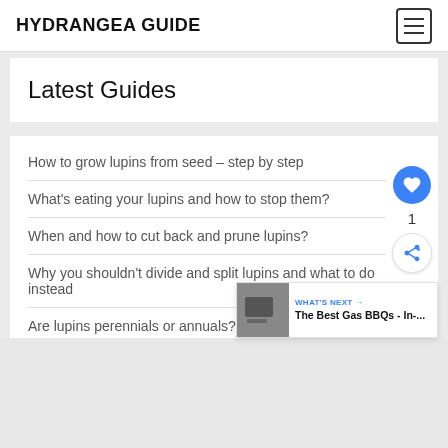HYDRANGEA GUIDE
Latest Guides
How to grow lupins from seed – step by step
What's eating your lupins and how to stop them?
When and how to cut back and prune lupins?
Why you shouldn't divide and split lupins and what to do instead
Are lupins perennials or annuals?